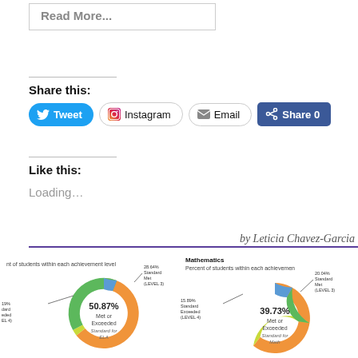Read More...
Share this:
Tweet  Instagram  Email  Share 0
Like this:
Loading...
by Leticia Chavez-Garcia
[Figure (donut-chart): Donut chart showing 50.87% Met or Exceeded Standard for ELA. Segments include 28.64% Standard Met (LEVEL 3) and 19% Standard Exceeded (LEVEL 4).]
[Figure (donut-chart): Donut chart showing 39.73% Met or Exceeded Standard for Math. Segments include 20.04% Standard Met (LEVEL 3) and 15.89% Standard Exceeded (LEVEL 4).]